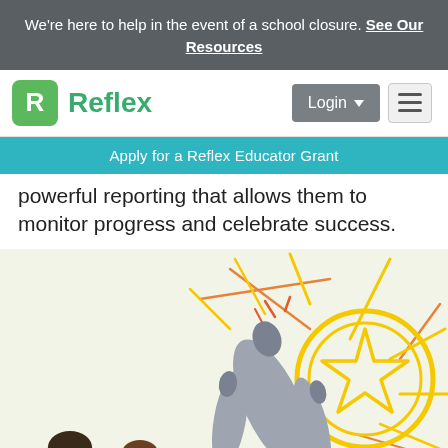We're here to help in the event of a school closure. See Our Resources
[Figure (logo): Reflex logo with green R icon and green Reflex text, plus Login and menu buttons]
Apply for a Reflex Educator Grant
powerful reporting that allows them to monitor progress and celebrate success.
[Figure (illustration): Cartoon illustration on light green background showing a hand/claw reaching up toward a shining star coin with radiating yellow and orange lines]